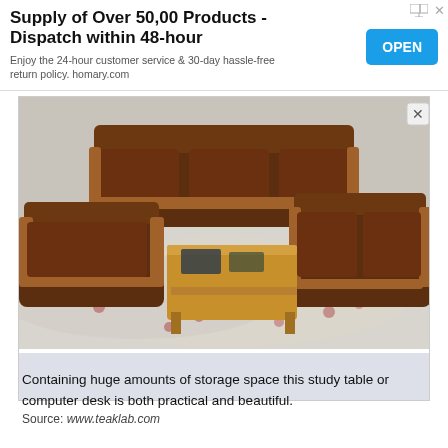[Figure (infographic): Advertisement banner: Supply of Over 50,00 Products - Dispatch within 48-hour. Open button in blue. Subtext: Enjoy the 24-hour customer service & 30-day hassle-free return policy. homary.com]
[Figure (photo): Photo of brown leather sofas with wooden frames arranged around a wooden coffee table on a floral patterned rug. Close (X) button visible top right.]
Source: www.teaklab.com
Containing huge amounts of storage space this study table or computer desk is both practical and beautiful.